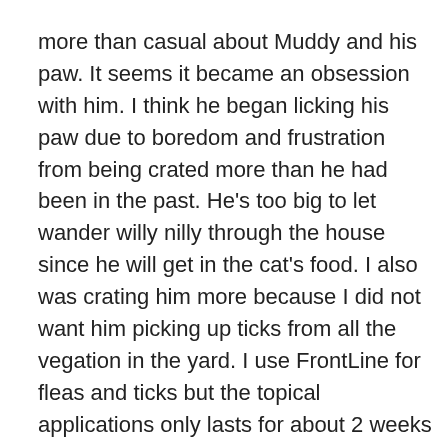more than casual about Muddy and his paw. It seems it became an obsession with him. I think he began licking his paw due to boredom and frustration from being crated more than he had been in the past. He's too big to let wander willy nilly through the house since he will get in the cat's food. I also was crating him more because I did not want him picking up ticks from all the vegation in the yard. I use FrontLine for fleas and ticks but the topical applications only lasts for about 2 weeks and if you are lucky , maybe 3 weeks. The lit says it is a once per month application but I have yet to see it work that long. It is very expensive too.
Finally, after he had made a nasty looking sore, I had my vet take a look. I was afraid that maybe it had become cancerous. Dr B. said, “oh no problem. Put a few drops of this med on 2-3 times a day and watch him for about 5